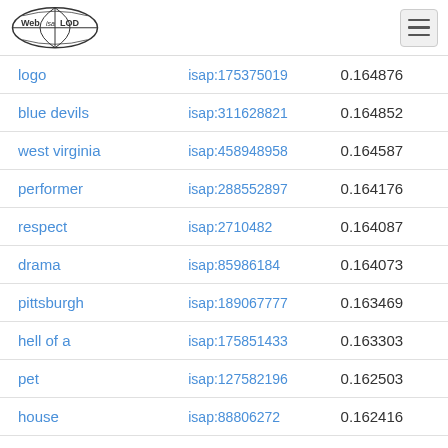Web isa LOD [logo] [hamburger menu]
| logo | isap:175375019 | 0.164876 |
| blue devils | isap:311628821 | 0.164852 |
| west virginia | isap:458948958 | 0.164587 |
| performer | isap:288552897 | 0.164176 |
| respect | isap:2710482 | 0.164087 |
| drama | isap:85986184 | 0.164073 |
| pittsburgh | isap:189067777 | 0.163469 |
| hell of a | isap:175851433 | 0.163303 |
| pet | isap:127582196 | 0.162503 |
| house | isap:88806272 | 0.162416 |
| anything | isap:456340499 | 0.161395 |